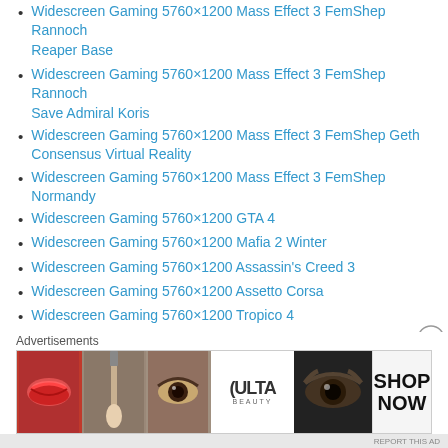Widescreen Gaming 5760×1200 Mass Effect 3 FemShep Rannoch Reaper Base
Widescreen Gaming 5760×1200 Mass Effect 3 FemShep Rannoch Save Admiral Koris
Widescreen Gaming 5760×1200 Mass Effect 3 FemShep Geth Consensus Virtual Reality
Widescreen Gaming 5760×1200 Mass Effect 3 FemShep Normandy
Widescreen Gaming 5760×1200 GTA 4
Widescreen Gaming 5760×1200 Mafia 2 Winter
Widescreen Gaming 5760×1200 Assassin's Creed 3
Widescreen Gaming 5760×1200 Assetto Corsa
Widescreen Gaming 5760×1200 Tropico 4
Karen Sisco TV Series Carla Gugino Promo Photos
Justified TV Series Timothy Olyphant Stills
Justified TV Series Timothy Olyphant Cast Promo Photos
Hawaii Five-0 TV Series 2010 Promo Photos
Californication TV Series David Duchovny Promo Photos
Advertisements
[Figure (other): ULTA Beauty advertisement banner with beauty/makeup imagery and SHOP NOW call to action]